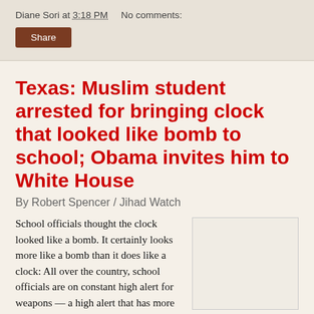Diane Sori at 3:18 PM    No comments:
Share
Texas: Muslim student arrested for bringing clock that looked like bomb to school; Obama invites him to White House
By Robert Spencer / Jihad Watch
School officials thought the clock looked like a bomb. It certainly looks more like a bomb than it does like a clock: All over the country, school officials are on constant high alert for weapons — a high alert that has more than once lapsed over into outright hysteria, with students being suspended for drawing [...]
[Figure (photo): Image placeholder / white box associated with article]